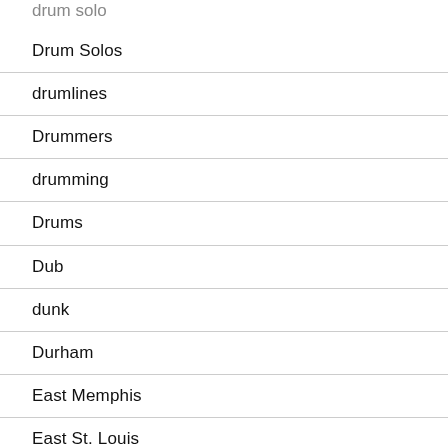drum solo
Drum Solos
drumlines
Drummers
drumming
Drums
Dub
dunk
Durham
East Memphis
East St. Louis
Edmonton